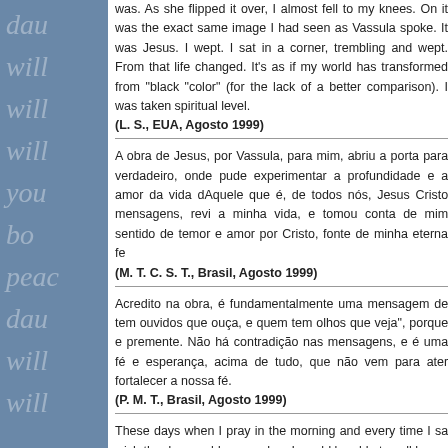was. As she flipped it over, I almost fell to my knees. On it was the exact same image I had seen as Vassula spoke. It was Jesus. I wept. I sat in a corner, trembling and wept. From that life changed. It's as if my world has transformed from "black "color" (for the lack of a better comparison). I was taken to a spiritual level.
(L. S., EUA, Agosto 1999)
A obra de Jesus, por Vassula, para mim, abriu a porta para um verdadeiro, onde pude experimentar a profundidade e a dimensão amor da vida dAquele que é, de todos nós, Jesus Cristo. Através das mensagens, revi a minha vida, e tomou conta de mim um profundo sentido de temor e amor por Cristo, fonte de minha eterna fé.
(M. T. C. S. T., Brasil, Agosto 1999)
Acredito na obra, é fundamentalmente uma mensagem de "quem tem ouvidos que ouça, e quem tem olhos que veja", porque é urgente e premente. Não há contradição nas mensagens, e é uma mensagem de fé e esperança, acima de tudo, que não vem para aterrorizar, mas fortalecer a nossa fé.
(P. M. T., Brasil, Agosto 1999)
These days when I pray in the morning and every time I saw... wish the day would come when I would be able to call h...